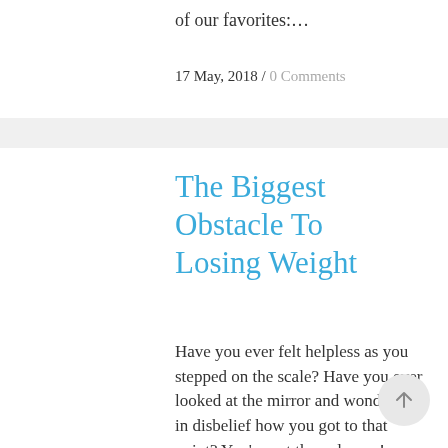of our favorites:...
17 May, 2018 / 0 Comments
The Biggest Obstacle To Losing Weight
Have you ever felt helpless as you stepped on the scale? Have you ever looked at the mirror and wondered in disbelief how you got to that point? You’re not the only one!